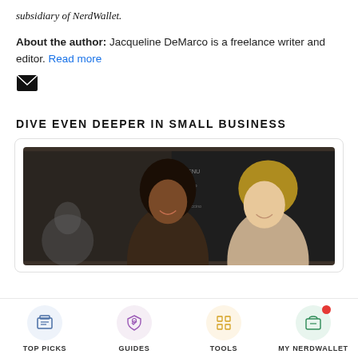subsidiary of NerdWallet.
About the author: Jacqueline DeMarco is a freelance writer and editor. Read more
[Figure (other): Email/message icon (envelope)]
DIVE EVEN DEEPER IN SMALL BUSINESS
[Figure (photo): Two women smiling at a cafe, one with dark curly hair and one with blonde hair, in front of a chalkboard menu]
TOP PICKS | GUIDES | TOOLS | MY NERDWALLET